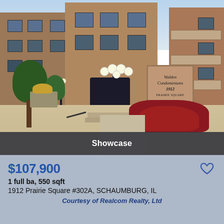[Figure (photo): Exterior photo of Walden Condominiums at 1912 Prairie Square, Schaumburg IL. Multi-story brick building with entrance, lamppost, trees, red flower beds, and a sign reading 'Walden Condominiums 1912 Prairie Square'.]
Showcase
$107,900
1 full ba, 550 sqft
1912 Prairie Square #302A, SCHAUMBURG, IL
Courtesy of Realcom Realty, Ltd